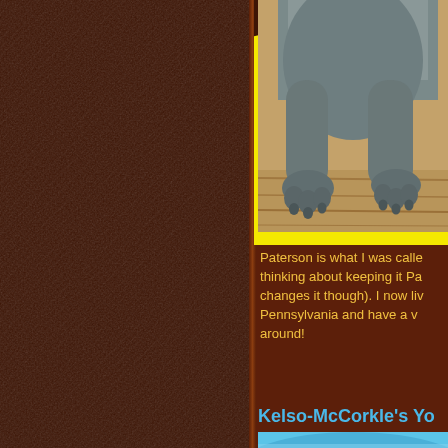[Figure (photo): Close-up photo of a large gray dog's paws and lower legs sitting on a wooden deck, with yellow arc background element]
Paterson is what I was called thinking about keeping it Pa changes it though). I now liv Pennsylvania and have a v around!
Kelso-McCorkle's Yo
[Figure (photo): Partial view of another dog photo with blue/cyan background, cropped at bottom of page]